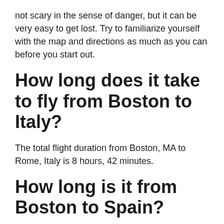not scary in the sense of danger, but it can be very easy to get lost. Try to familiarize yourself with the map and directions as much as you can before you start out.
How long does it take to fly from Boston to Italy?
The total flight duration from Boston, MA to Rome, Italy is 8 hours, 42 minutes.
How long is it from Boston to Spain?
Flying time from Boston, MA to Madrid, Spain
The total flight duration from Boston, MA to